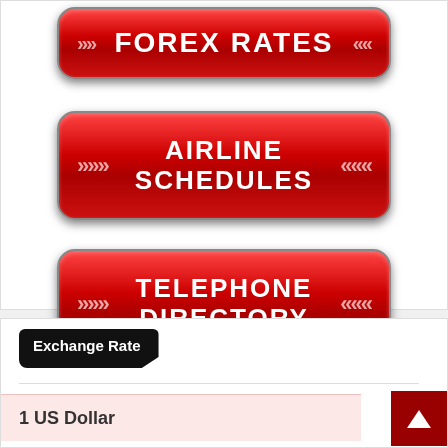[Figure (infographic): Red rounded button with white bold text reading FOREX RATES and arrow chevrons on left and right sides]
[Figure (infographic): Red rounded button with white bold text reading AIRLINE SCHEDULES and arrow chevrons on left and right sides]
[Figure (infographic): Red rounded button with white bold text reading TELEPHONE DIRECTORY and arrow chevrons on left and right sides]
Exchange Rate
1 US Dollar